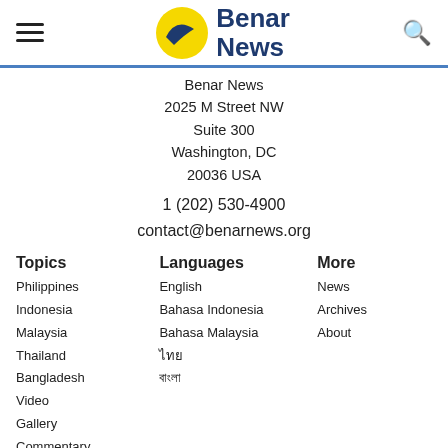Benar News
Benar News
2025 M Street NW
Suite 300
Washington, DC
20036 USA
1 (202) 530-4900
contact@benarnews.org
Topics
Philippines
Indonesia
Malaysia
Thailand
Bangladesh
Video
Gallery
Commentary
Languages
English
Bahasa Indonesia
Bahasa Malaysia
ไทย
বাংলা
More
News
Archives
About